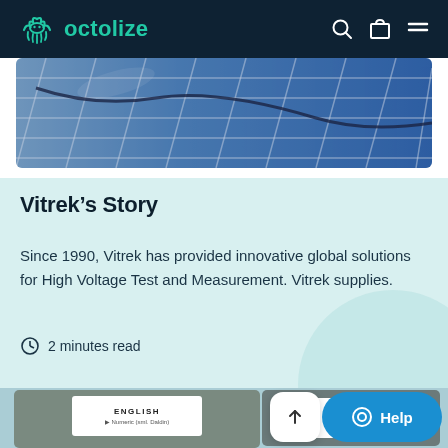octolize
[Figure (photo): Solar panels photographed from above/angle, blue tones]
Vitrek’s Story
Since 1990, Vitrek has provided innovative global solutions for High Voltage Test and Measurement. Vitrek supplies.
2 minutes read
[Figure (screenshot): Bottom preview cards showing ENGLISH and DEUTSCH language options, with scroll-to-top and Help chat button]